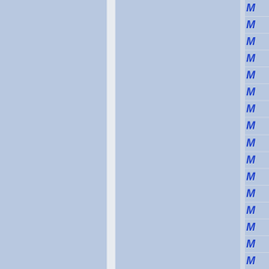[Figure (other): Document page with three columns on a light blue-gray background. The left column is a wide blue-gray panel, separated by a narrow white/light divider from a middle blue-gray panel. On the right edge is a narrow column containing a vertical list of blue italic letter M characters, each in its own cell separated by thin horizontal lines.]